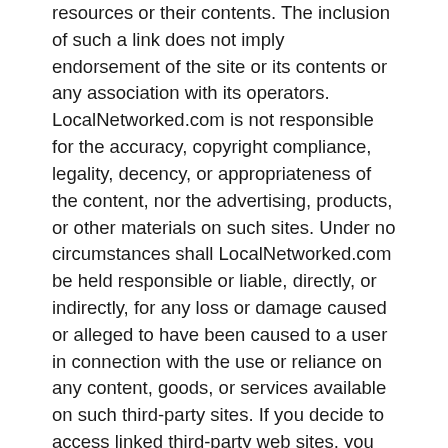resources or their contents. The inclusion of such a link does not imply endorsement of the site or its contents or any association with its operators. LocalNetworked.com is not responsible for the accuracy, copyright compliance, legality, decency, or appropriateness of the content, nor the advertising, products, or other materials on such sites. Under no circumstances shall LocalNetworked.com be held responsible or liable, directly, or indirectly, for any loss or damage caused or alleged to have been caused to a user in connection with the use or reliance on any content, goods, or services available on such third-party sites. If you decide to access linked third-party web sites, you do so at your own risk. Any concerns regarding any third-party web site should be directed to its respective site administrator or webmaster. LocalNetworked.com reserves the right to terminate any link or linking program at any time.
You may provide links only to the homepage of